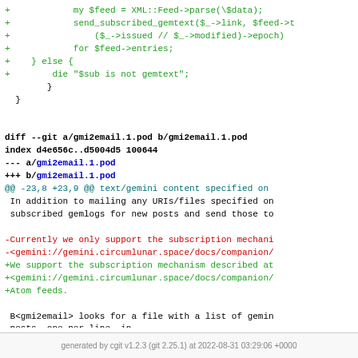diff code block showing git diff of gmi2email.1.pod with added XML::Feed parsing code and subscription mechanism changes
generated by cgit v1.2.3 (git 2.25.1) at 2022-08-31 03:29:06 +0000